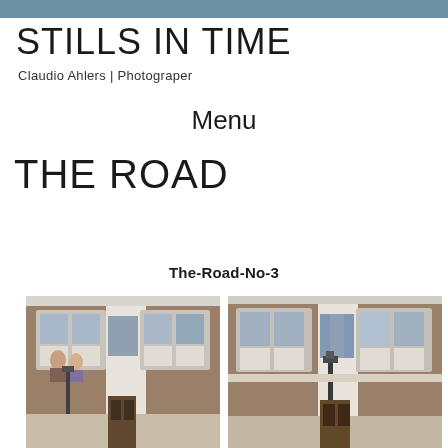STILLS IN TIME
Claudio Ahlers | Photograper
Menu
THE ROAD
The-Road-No-3
[Figure (photo): Two side-by-side photos of a Victorian brick terraced house facade showing bay windows, stone detailing, and a street lamp in the foreground]
[Figure (photo): Second photo of Victorian brick terraced house facade showing bay windows, stone detailing, and a street lamp in the foreground]